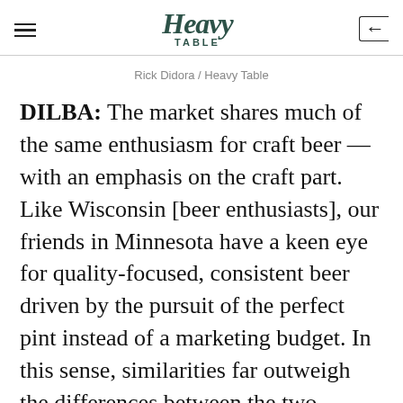Heavy Table
Rick Didora / Heavy Table
DILBA: The market shares much of the same enthusiasm for craft beer — with an emphasis on the craft part. Like Wisconsin [beer enthusiasts], our friends in Minnesota have a keen eye for quality-focused, consistent beer driven by the pursuit of the perfect pint instead of a marketing budget. In this sense, similarities far outweigh the differences between the two markets